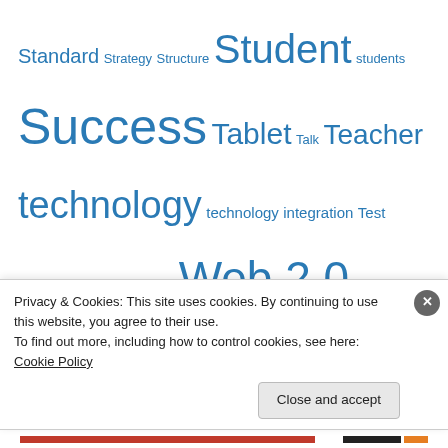Standard Strategy Structure Student students Success Tablet Talk Teacher technology technology integration Test Textbook Thinking Web Web 2.0 Wiki World Language write Writing
Education with Technology
Tech Integration Teacher, What time is it? August 23, 2016
When someone asks what time it is, that person wants to know the time, not the history of the clock, not how a clock works, and not what other
Privacy & Cookies: This site uses cookies. By continuing to use this website, you agree to their use. To find out more, including how to control cookies, see here: Cookie Policy